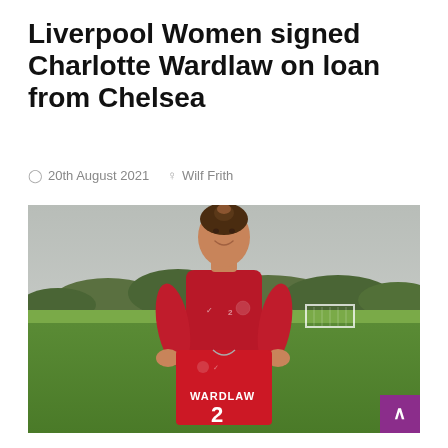Liverpool Women signed Charlotte Wardlaw on loan from Chelsea
20th August 2021  Wilf Frith
[Figure (photo): Charlotte Wardlaw in Liverpool Women red training jacket holding a red Liverpool shirt with 'WARDLAW 2' on the back, standing on a grass pitch with trees and overcast sky in background. A goal post is visible to the right.]